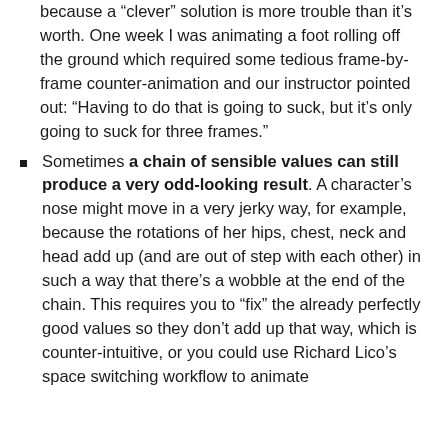because a "clever" solution is more trouble than it's worth. One week I was animating a foot rolling off the ground which required some tedious frame-by-frame counter-animation and our instructor pointed out: “Having to do that is going to suck, but it’s only going to suck for three frames.”
Sometimes a chain of sensible values can still produce a very odd-looking result. A character’s nose might move in a very jerky way, for example, because the rotations of her hips, chest, neck and head add up (and are out of step with each other) in such a way that there’s a wobble at the end of the chain. This requires you to “fix” the already perfectly good values so they don’t add up that way, which is counter-intuitive, or you could use Richard Lico’s space switching workflow to animate